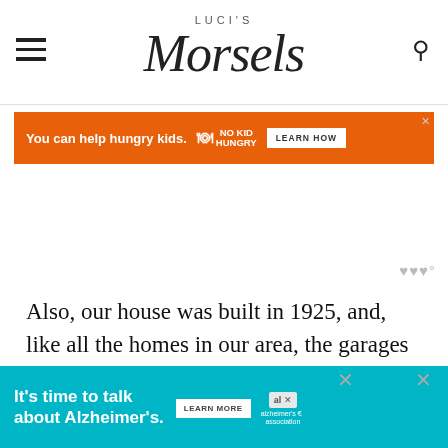LUCI'S Morsels
[Figure (infographic): Orange advertisement banner: 'You can help hungry kids. NO KID HUNGRY [icon] LEARN HOW button']
Also, our house was built in 1925, and, like all the homes in our area, the garages are detached and basically impossible to get your car into.
While storage of things would be a fine idea for the sp...
[Figure (infographic): Teal advertisement banner: 'It's time to talk about Alzheimer's.' with LEARN MORE button and Alzheimer's Association logo]